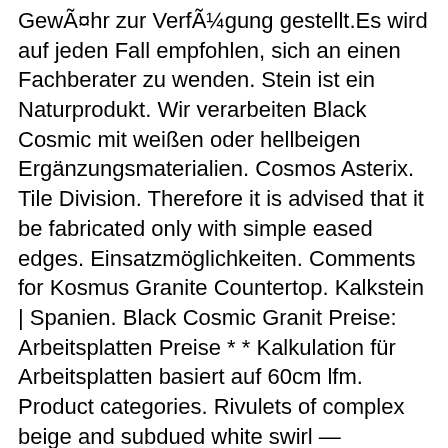GewÃ¤hr zur VerfÃ¼gung gestellt.Es wird auf jeden Fall empfohlen, sich an einen Fachberater zu wenden. Stein ist ein Naturprodukt. Wir verarbeiten Black Cosmic mit weißen oder hellbeigen Ergänzungsmaterialien. Cosmos Asterix. Tile Division. Therefore it is advised that it be fabricated only with simple eased edges. Einsatzmöglichkeiten. Comments for Kosmus Granite Countertop. Kalkstein | Spanien. Black Cosmic Granit Preise: Arbeitsplatten Preise * * Kalkulation für Arbeitsplatten basiert auf 60cm lfm. Product categories. Rivulets of complex beige and subdued white swirl — unexpectedly and with vigor — over a jet black background, like cream poured into coffee. "Dies ist eine Original-Aufnahme vom oben genannten Block. 16% Mehrwertsteuer (poliert) (Berechnung = 1 m 2 * 0.6 m 2 * 511.50 €/qm = 306.90 €/lfm . Black Cosmic poliert: Dekor Nr. Alle Materialbilder und Materialnamen wurden von unserem Lieferanten übernommen! White veins of quartz and clusters of mica stand out against a markedly intense black background. Saved by Mont Surfaces. Selbstverständlich können Sie